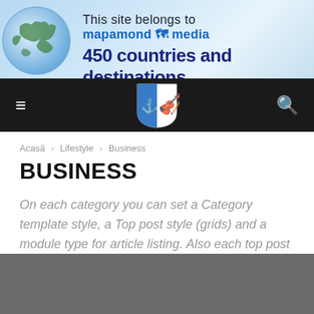[Figure (illustration): Website banner with world map graphic on left and text 'This site belongs to mapamond media / 450 countries and destinations' on blue gradient background]
[Figure (logo): Dark navigation bar with hamburger menu icon on left, shield/coat of arms logo in center, and search icon on right]
Acasă › Lifestyle › Business
BUSINESS
On each category you can set a Category template style, a Top post style (grids) and a module type for article listing. Also each top post style (grids) have 5 different look style. You can mix them to create a beautiful and unique category page.